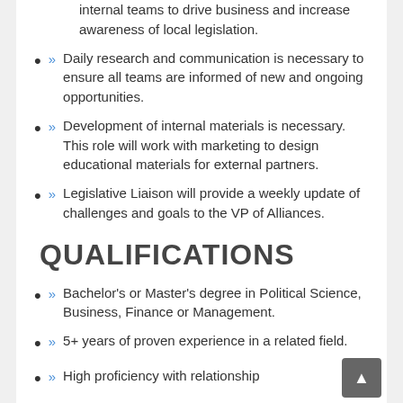internal teams to drive business and increase awareness of local legislation.
Daily research and communication is necessary to ensure all teams are informed of new and ongoing opportunities.
Development of internal materials is necessary. This role will work with marketing to design educational materials for external partners.
Legislative Liaison will provide a weekly update of challenges and goals to the VP of Alliances.
QUALIFICATIONS
Bachelor's or Master's degree in Political Science, Business, Finance or Management.
5+ years of proven experience in a related field.
High proficiency with relationship...